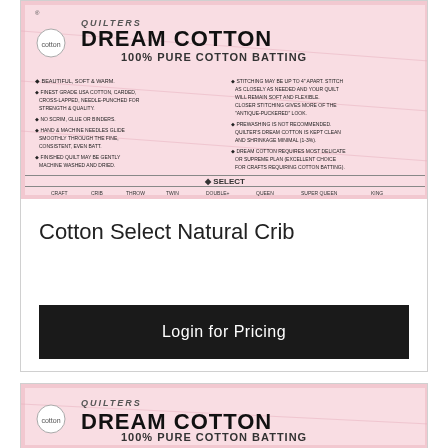[Figure (photo): Quilters Dream Cotton 100% Pure Cotton Batting product label - pink and white packaging showing product features and size chart (Craft, Crib, Throw, Twin, Double, Queen, Super Queen, King). Cotton Select Natural variant.]
Cotton Select Natural Crib
Login for Pricing
[Figure (photo): Quilters Dream Cotton 100% Pure Cotton Batting product label - second product card, same pink and white packaging, partial view showing logo and top portion of product features text.]